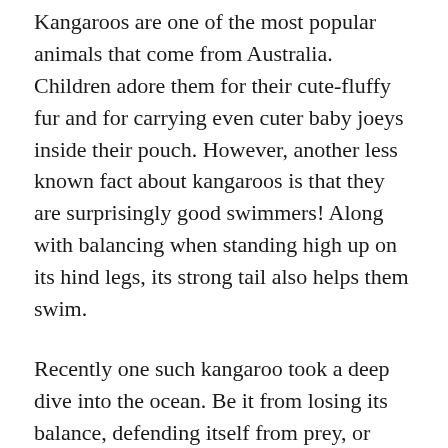Kangaroos are one of the most popular animals that come from Australia. Children adore them for their cute-fluffy fur and for carrying even cuter baby joeys inside their pouch. However, another less known fact about kangaroos is that they are surprisingly good swimmers! Along with balancing when standing high up on its hind legs, its strong tail also helps them swim.
Recently one such kangaroo took a deep dive into the ocean. Be it from losing its balance, defending itself from prey, or wanting to cool down, we are unsure, but it leaped off some rocks and got pulled back into the deeper parts of the sea.
That's when 17-year-old Lillian Bee Young sprung into action, swimming out to the kangaroo at Iluka near Yamba, located along the north coast of NSW, in